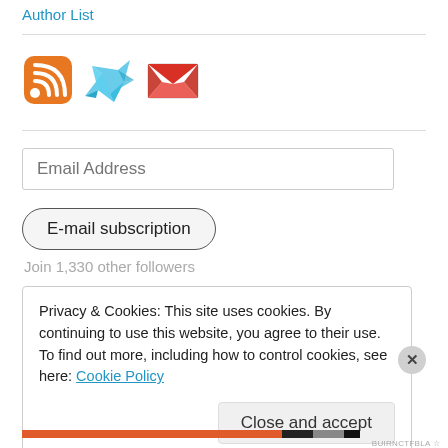Author List
[Figure (illustration): Three social media/subscription icons: RSS (orange square with wifi/RSS symbol), Twitter (blue origami bird), Gmail (red M envelope)]
Email Address
E-mail subscription
Join 1,330 other followers
Privacy & Cookies: This site uses cookies. By continuing to use this website, you agree to their use.
To find out more, including how to control cookies, see here: Cookie Policy
Close and accept